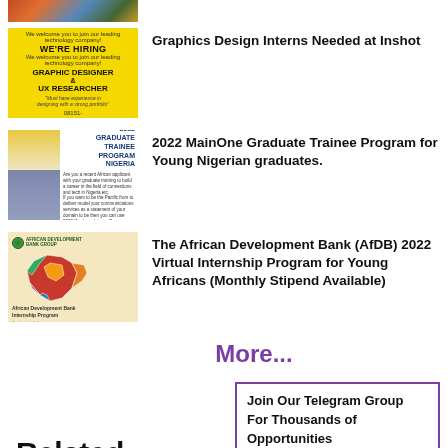[Figure (photo): Partial top image, cropped, colorful photo at top of list]
[Figure (photo): Yellow 'We're Hiring' thumbnail for Graphic Designer and UX Researcher at Inshot]
Graphics Design Interns Needed at Inshot
[Figure (photo): Graduate Trainee Program Nigeria 2022 thumbnail with blue text and person with laptop]
2022 MainOne Graduate Trainee Program for Young Nigerian graduates.
[Figure (photo): African Development Bank Internship Program thumbnail with Africa map]
The African Development Bank (AfDB) 2022 Virtual Internship Program for Young Africans (Monthly Stipend Available)
More...
Join Our Telegram Group For Thousands of Opportunities
Related